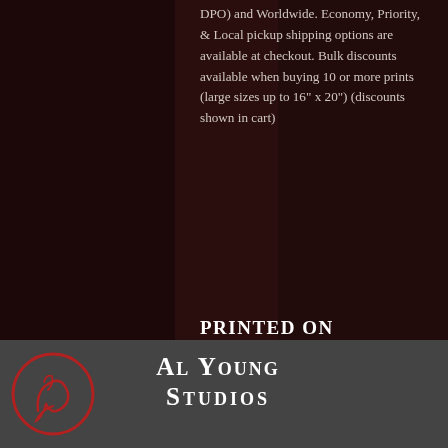DPO) and Worldwide. Economy, Priority, & Local pickup shipping options are available at checkout. Bulk discounts available when buying 10 or more prints (large sizes up to 16" x 20") (discounts shown in cart)
Printed on demand - Product ships in 2 to 6 days (Serial No. 3.22.003c.021)
Al Young Studios